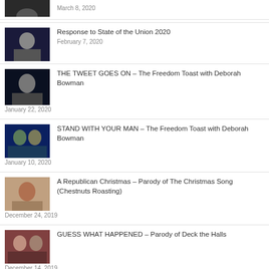[Figure (photo): Partial thumbnail of a person, top cropped]
March 8, 2020
[Figure (photo): Thumbnail of person in dark setting]
Response to State of the Union 2020
February 7, 2020
[Figure (photo): Thumbnail of person in dark setting]
THE TWEET GOES ON – The Freedom Toast with Deborah Bowman
January 22, 2020
[Figure (photo): Thumbnail of two men on blue background]
STAND WITH YOUR MAN – The Freedom Toast with Deborah Bowman
January 10, 2020
[Figure (photo): Thumbnail of person]
A Republican Christmas – Parody of The Christmas Song (Chestnuts Roasting)
December 24, 2019
[Figure (photo): Thumbnail of two people]
GUESS WHAT HAPPENED – Parody of Deck the Halls
December 14, 2019
[Figure (photo): Thumbnail on blue background]
CORRUPTION – Parody of Truckin' – The Grateful Dead